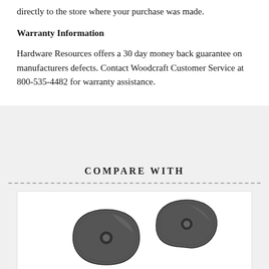directly to the store where your purchase was made.
Warranty Information
Hardware Resources offers a 30 day money back guarantee on manufacturers defects. Contact Woodcraft Customer Service at 800-535-4482 for warranty assistance.
COMPARE WITH
[Figure (photo): Two dark pewter/antique finish cabinet knob backplates, one smaller (left) and one slightly larger and more rounded (right), photographed on white background.]